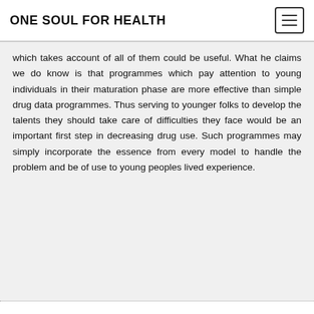ONE SOUL FOR HEALTH
which takes account of all of them could be useful. What he claims we do know is that programmes which pay attention to young individuals in their maturation phase are more effective than simple drug data programmes. Thus serving to younger folks to develop the talents they should take care of difficulties they face would be an important first step in decreasing drug use. Such programmes may simply incorporate the essence from every model to handle the problem and be of use to young peoples lived experience.